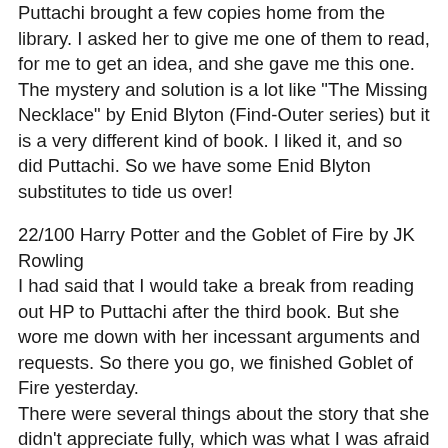Puttachi brought a few copies home from the library. I asked her to give me one of them to read, for me to get an idea, and she gave me this one.
The mystery and solution is a lot like "The Missing Necklace" by Enid Blyton (Find-Outer series) but it is a very different kind of book. I liked it, and so did Puttachi. So we have some Enid Blyton substitutes to tide us over!
22/100 Harry Potter and the Goblet of Fire by JK Rowling
I had said that I would take a break from reading out HP to Puttachi after the third book. But she wore me down with her incessant arguments and requests. So there you go, we finished Goblet of Fire yesterday.
There were several things about the story that she didn't appreciate fully, which was what I was afraid of. I did stop from time to time to explain things to her, yet, obviously, it wasn't enough for her 8-year-o...ld sensibilities. But yet, she got the overall story, and that satisfied her immensely. And sure enough, she has been talking about the book non-stop ever since we finished.
Also, funnily, as I read it, I realized that either I have completely missed reading this book, or else, I have read it